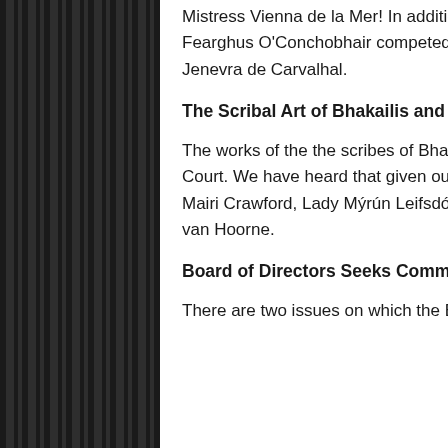Mistress Vienna de la Mer! In addition, friends of the Barony were also competitors. Baron Fearghus O'Conchobhair competed for crown and for the honor of Baroness Christina Jenevra de Carvalhal.
The Scribal Art of Bhakailis and Friends
The works of the the scribes of Bhakail and its friends continue to be displayed in Royal Court. We have heard that given out were scrolls created by Lady Triona MacCaskey, Lady Mairi Crawford, Lady Mýrún Leifsdóttir, Lady Shoshana Gryffyth, and Baroness Mari Clock van Hoorne.
Board of Directors Seeks Commentary
There are two issues on which the Board of Directors of the SCA is seeking input.